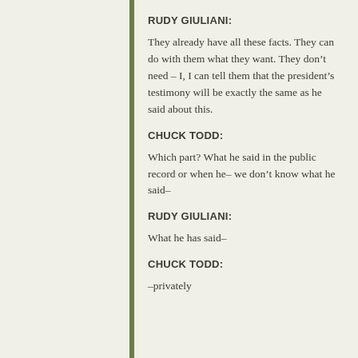RUDY GIULIANI:
They already have all these facts. They can do with them what they want. They don’t need – I, I can tell them that the president’s testimony will be exactly the same as he said about this.
CHUCK TODD:
Which part? What he said in the public record or when he– we don’t know what he said–
RUDY GIULIANI:
What he has said–
CHUCK TODD:
–privately